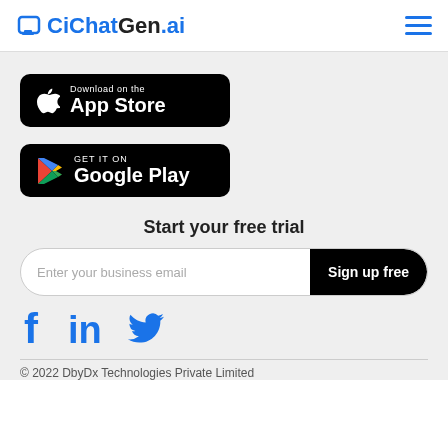CiChatGen.ai [logo + hamburger menu]
[Figure (logo): Download on the App Store button — black rounded rectangle with Apple logo icon, text 'Download on the' and 'App Store']
[Figure (logo): Get it on Google Play button — black rounded rectangle with Google Play triangle icon, text 'GET IT ON' and 'Google Play']
Start your free trial
[Figure (screenshot): Email signup form: input field 'Enter your business email' with black 'Sign up free' button]
[Figure (logo): Social media icons: Facebook (f), LinkedIn (in), Twitter (bird) in blue]
© 2022 DbyDx Technologies Private Limited